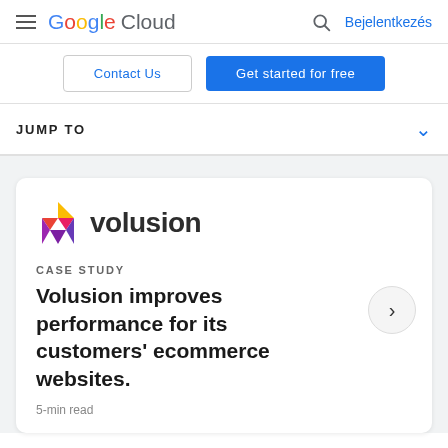Google Cloud  Bejelentkezés
Contact Us
Get started for free
JUMP TO
[Figure (logo): Volusion logo with colorful diamond/gem icon and 'volusion' wordmark in dark text]
CASE STUDY
Volusion improves performance for its customers' ecommerce websites.
5-min read